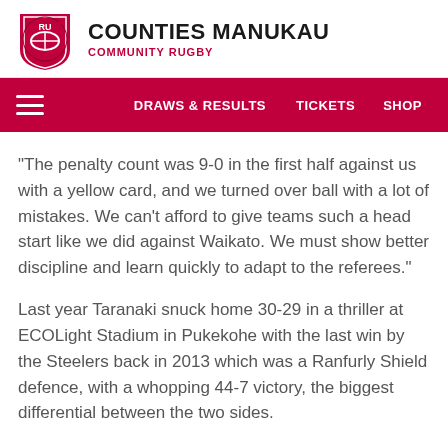COUNTIES MANUKAU COMMUNITY RUGBY
"The penalty count was 9-0 in the first half against us with a yellow card, and we turned over ball with a lot of mistakes. We can't afford to give teams such a head start like we did against Waikato. We must show better discipline and learn quickly to adapt to the referees."
Last year Taranaki snuck home 30-29 in a thriller at ECOLight Stadium in Pukekohe with the last win by the Steelers back in 2013 which was a Ranfurly Shield defence, with a whopping 44-7 victory, the biggest differential between the two sides.